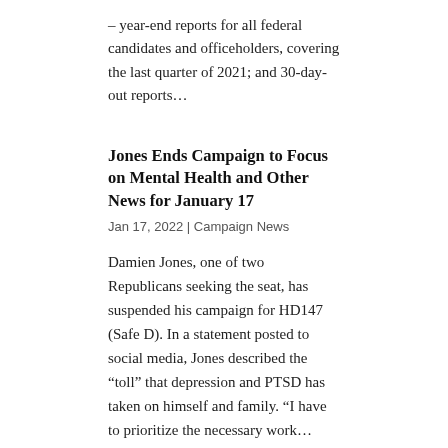– year-end reports for all federal candidates and officeholders, covering the last quarter of 2021; and 30-day-out reports...
Jones Ends Campaign to Focus on Mental Health and Other News for January 17
Jan 17, 2022 | Campaign News
Damien Jones, one of two Republicans seeking the seat, has suspended his campaign for HD147 (Safe D). In a statement posted to social media, Jones described the “toll” that depression and PTSD has taken on himself and family. “I have to prioritize the necessary work...
Cyrier Announces Retirement on Eve of Filing Period